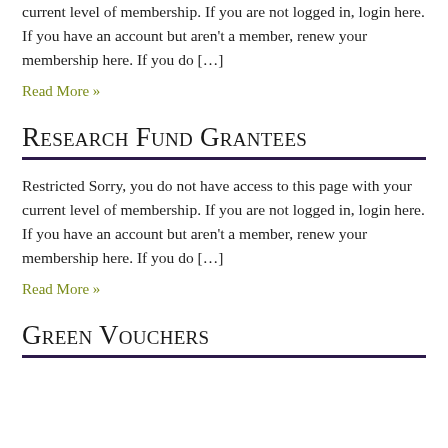current level of membership. If you are not logged in, login here. If you have an account but aren’t a member, renew your membership here. If you do […]
Read More »
Research Fund Grantees
Restricted Sorry, you do not have access to this page with your current level of membership. If you are not logged in, login here. If you have an account but aren’t a member, renew your membership here. If you do […]
Read More »
Green Vouchers